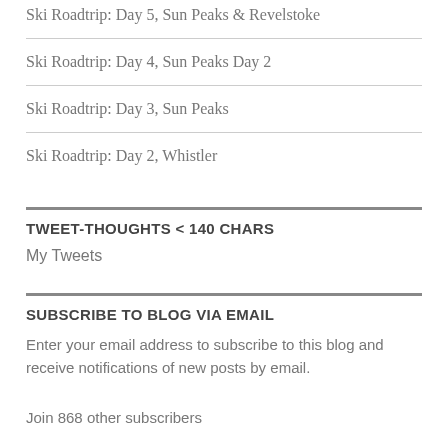Ski Roadtrip: Day 5, Sun Peaks & Revelstoke
Ski Roadtrip: Day 4, Sun Peaks Day 2
Ski Roadtrip: Day 3, Sun Peaks
Ski Roadtrip: Day 2, Whistler
TWEET-THOUGHTS < 140 CHARS
My Tweets
SUBSCRIBE TO BLOG VIA EMAIL
Enter your email address to subscribe to this blog and receive notifications of new posts by email.
Join 868 other subscribers